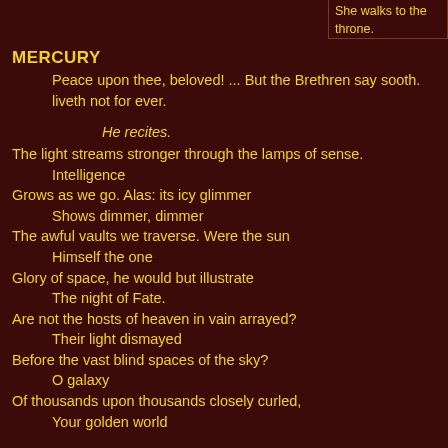She walks to the throne.
Mercury
Peace upon thee, beloved! ... But the Brethren say sooth. liveth not for ever.
He recites.
The light streams stronger through the lamps of sense.
    Intelligence
Grows as we go. Alas: its icy glimmer
    Shows dimmer, dimmer
The awful vaults we traverse. Were the sun
    Himself the one
Glory of space, he would but illustrate
    The night of Fate.
Are not the hosts of heaven in vain arrayed?
    Their light dismayed
Before the vast blind spaces of the sky?
    O galaxy
Of thousands upon thousands closely curled,
    Your golden world